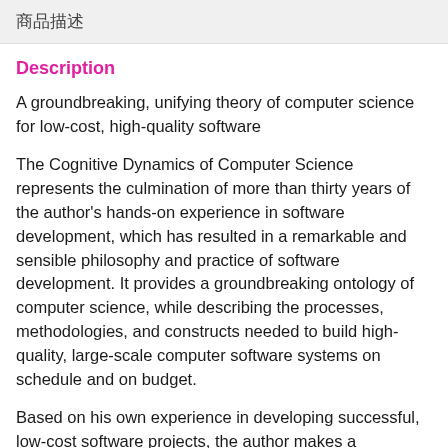商品描述
Description
A groundbreaking, unifying theory of computer science for low-cost, high-quality software
The Cognitive Dynamics of Computer Science represents the culmination of more than thirty years of the author's hands-on experience in software development, which has resulted in a remarkable and sensible philosophy and practice of software development. It provides a groundbreaking ontology of computer science, while describing the processes, methodologies, and constructs needed to build high-quality, large-scale computer software systems on schedule and on budget.
Based on his own experience in developing successful, low-cost software projects, the author makes a persuasive argument for developers to understand the